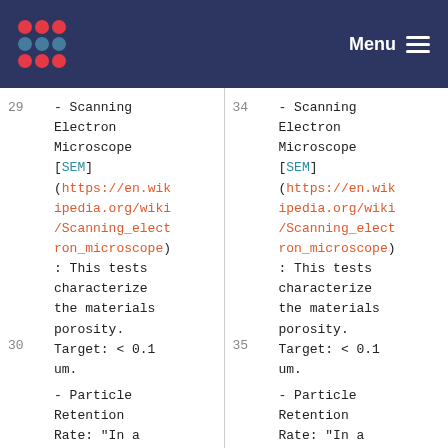Menu
| Row | Content | Row | Content |
| --- | --- | --- | --- |
| 29 | - Scanning Electron Microscope [SEM] (https://en.wikipedia.org/wiki/Scanning_electron_microscope): This tests characterize the materials porosity. Target: < 0.1 um. | 34 | - Scanning Electron Microscope [SEM] (https://en.wikipedia.org/wiki/Scanning_electron_microscope): This tests characterize the materials porosity. Target: < 0.1 um. |
| 30 | - Particle Retention Rate: "In a filtration process, the particle | 35 | - Particle Retention Rate: "In a filtration process, the particle |